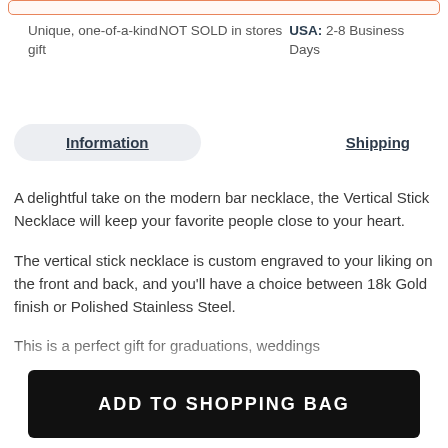Unique, one-of-a-kind gift | NOT SOLD in stores | USA: 2-8 Business Days
Information | Shipping
A delightful take on the modern bar necklace, the Vertical Stick Necklace will keep your favorite people close to your heart.
The vertical stick necklace is custom engraved to your liking on the front and back, and you'll have a choice between 18k Gold finish or Polished Stainless Steel.
This is a perfect gift for graduations, weddings
ADD TO SHOPPING BAG